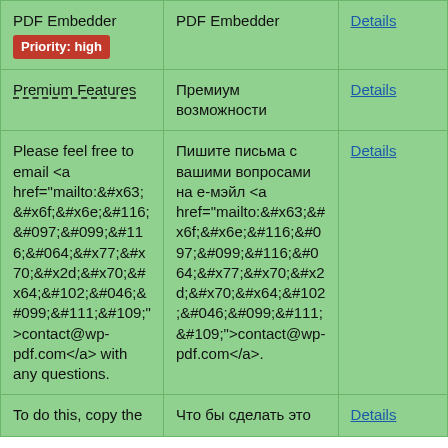| English | Russian | Action |
| --- | --- | --- |
| PDF Embedder
Priority: high | PDF Embedder | Details |
| Premium Features | Премиум возможности | Details |
| Please feel free to email <a href="mailto:&#x63;&#x6f;&#x6e;&#116;&#097;&#099;&#116;&#064;&#x77;&#x70;&#x2d;&#x70;&#x64;&#102;&#046;&#099;&#111;&#109;">contact@wp-pdf.com</a> with any questions. | Пишите письма с вашими вопросами на е-мэйл <a href="mailto:&#x63;&#x6f;&#x6e;&#116;&#097;&#099;&#116;&#064;&#x77;&#x70;&#x2d;&#x70;&#x64;&#102;&#046;&#099;&#111;&#109;">contact@wp-pdf.com</a>. | Details |
| To do this, copy the | Что бы сделать это | Details |